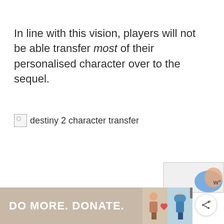In line with this vision, players will not be able transfer most of their personalised character over to the sequel.
[Figure (illustration): Broken image placeholder with alt text 'destiny 2 character transfer']
[Figure (illustration): Favorite heart button (teal circle with heart icon)]
[Figure (illustration): Share button (white circle with share icon)]
[Figure (illustration): reCAPTCHA verification box with illustration]
[Figure (infographic): Ad banner: DO MORE. DONATE. with two illustrated figures and a close button]
w°